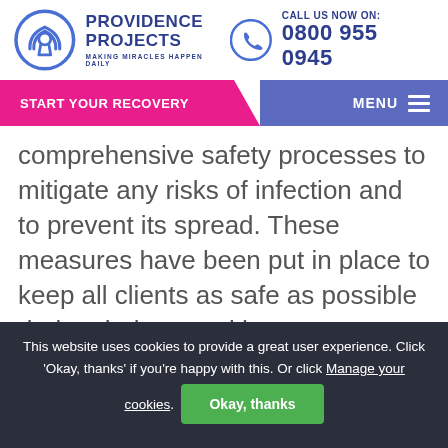PROVIDENCE PROJECTS | MAKING MIRACLES HAPPEN DAILY | CALL US NOW ON: 0800 955 0945
START YOUR RECOVERY | MENU
comprehensive safety processes to mitigate any risks of infection and to prevent its spread. These measures have been put in place to keep all clients as safe as possible during their stay with us: our primary concern is for our clients to receive the highest level of treatment in the safest environment
This website uses cookies to provide a great user experience. Click 'Okay, thanks' if you're happy with this. Or click Manage your cookies. Okay, thanks